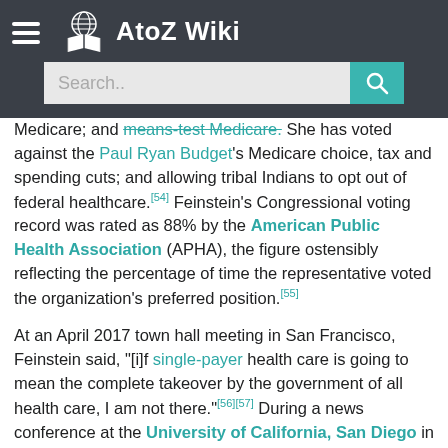AtoZ Wiki
Medicare; and means-test Medicare. She has voted against the Paul Ryan Budget's Medicare choice, tax and spending cuts; and allowing tribal Indians to opt out of federal healthcare.[54] Feinstein's Congressional voting record was rated as 88% by the American Public Health Association (APHA), the figure ostensibly reflecting the percentage of time the representative voted the organization's preferred position.[55]
At an April 2017 town hall meeting in San Francisco, Feinstein said, "[i]f single-payer health care is going to mean the complete takeover by the government of all health care, I am not there."[56][57] During a news conference at the University of California, San Diego in July 2017, she estimated that Democratic opposition would prove sufficient to defeat Republican attempts to repeal the ACA.[58] Feinstein wrote in an August 2017 op-ed that Trump could secure health care reform if he compromised with Democrats: "We now know that